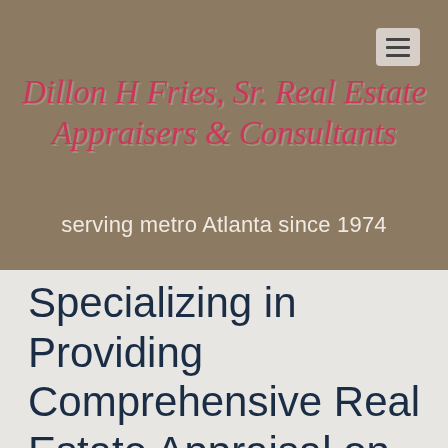[Figure (screenshot): Hamburger menu button in light gray rounded square, top-right corner]
Dillon H Fries, Sr. Real Estate Appraisers & Consultants
serving metro Atlanta since 1974
Specializing in Providing Comprehensive Real Estate Appraisal on